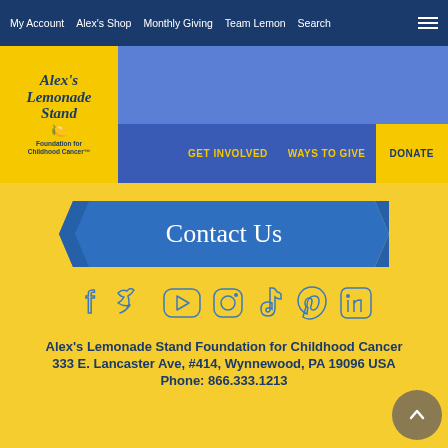My Account  Alex's Shop  Monthly Giving  Team Lemon  Search
[Figure (logo): Alex's Lemonade Stand Foundation for Childhood Cancer logo on yellow background]
GET INVOLVED  WAYS TO GIVE  DONATE
Contact Us
[Figure (infographic): Social media icons: Facebook, Twitter, YouTube, Instagram, TikTok, Pinterest, LinkedIn]
Alex's Lemonade Stand Foundation for Childhood Cancer
333 E. Lancaster Ave, #414, Wynnewood, PA 19096 USA
Phone: 866.333.1213